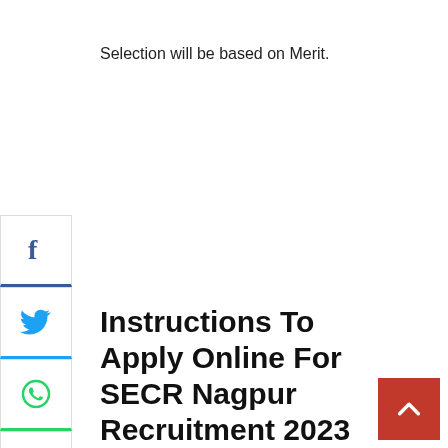Selection will be based on Merit.
[Figure (infographic): Social media share buttons sidebar: Facebook, Twitter, WhatsApp, Pinterest, Email, and a collapse arrow button]
Instructions To Apply Online For SECR Nagpur Recruitment 2023